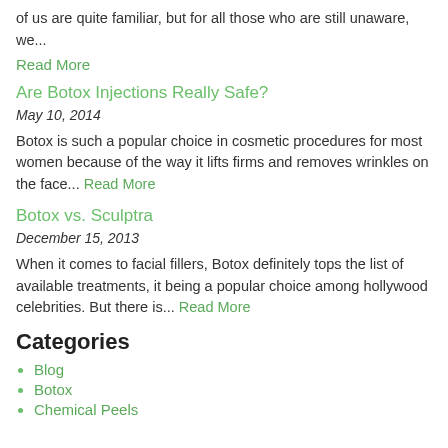of us are quite familiar, but for all those who are still unaware, we...
Read More
Are Botox Injections Really Safe?
May 10, 2014
Botox is such a popular choice in cosmetic procedures for most women because of the way it lifts firms and removes wrinkles on the face... Read More
Botox vs. Sculptra
December 15, 2013
When it comes to facial fillers, Botox definitely tops the list of available treatments, it being a popular choice among hollywood celebrities. But there is... Read More
Categories
Blog
Botox
Chemical Peels